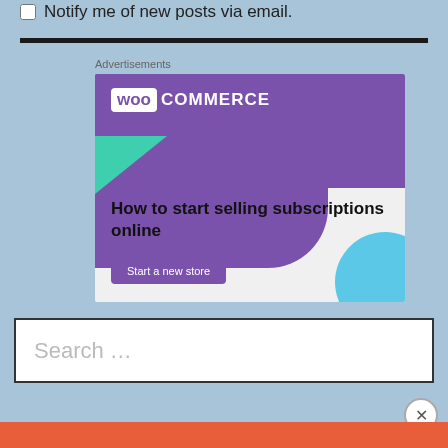Notify me of new posts via email.
[Figure (screenshot): WooCommerce advertisement banner: purple header with WooCommerce logo, green triangle, blue circle, headline 'How to start selling subscriptions online', purple 'Start a new store' button]
Advertisements
Search …
Advertisements